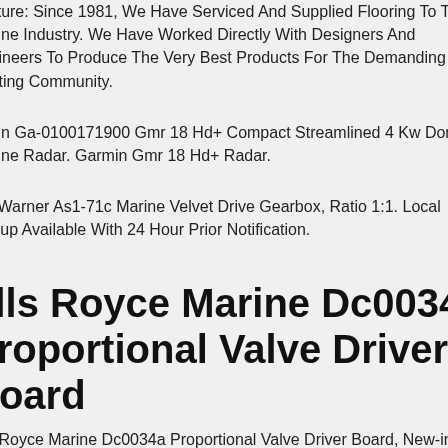gnature: Since 1981, We Have Serviced And Supplied Flooring To The Marine Industry. We Have Worked Directly With Designers And Engineers To Produce The Very Best Products For The Demanding Boating Community.
Garmin Ga-0100171900 Gmr 18 Hd+ Compact Streamlined 4 Kw Dome Marine Radar. Garmin Gmr 18 Hd+ Radar.
Borg Warner As1-71c Marine Velvet Drive Gearbox, Ratio 1:1. Local Pickup Available With 24 Hour Prior Notification.
Rolls Royce Marine Dc0034a Proportional Valve Driver Board
Rolls Royce Marine Dc0034a Proportional Valve Driver Board, New-in Sealed Oem Bag.
Railway Specialties Marine Water